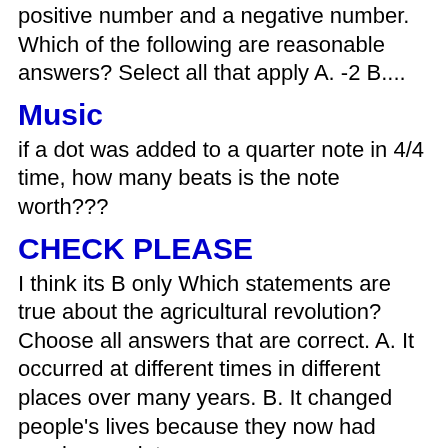positive number and a negative number. Which of the following are reasonable answers? Select all that apply A. -2 B....
Music
if a dot was added to a quarter note in 4/4 time, how many beats is the note worth???
CHECK PLEASE
I think its B only Which statements are true about the agricultural revolution? Choose all answers that are correct. A. It occurred at different times in different places over many years. B. It changed people's lives because they now had nearly complete...
Business/Finance